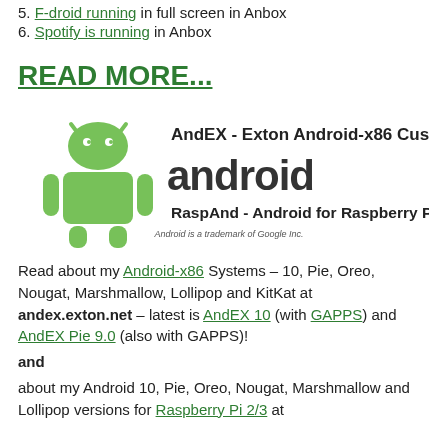5. F-droid running in full screen in Anbox
6. Spotify is running in Anbox
READ MORE...
[Figure (logo): AndEX - Exton Android-x86 Custom / Android / RaspAnd - Android for Raspberry Pi logo with green Android robot mascot]
Read about my Android-x86 Systems – 10, Pie, Oreo, Nougat, Marshmallow, Lollipop and KitKat at andex.exton.net – latest is AndEX 10 (with GAPPS) and AndEX Pie 9.0 (also with GAPPS)!
and
about my Android 10, Pie, Oreo, Nougat, Marshmallow and Lollipop versions for Raspberry Pi 2/3 at